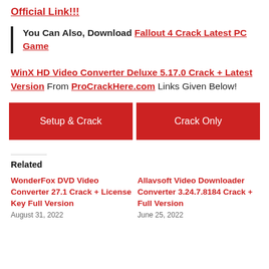Official Link!!!
You Can Also, Download Fallout 4 Crack Latest PC Game
WinX HD Video Converter Deluxe 5.17.0 Crack + Latest Version From ProCrackHere.com Links Given Below!
[Figure (other): Two red download buttons: 'Setup & Crack' and 'Crack Only']
Related
WonderFox DVD Video Converter 27.1 Crack + License Key Full Version
August 31, 2022
Allavsoft Video Downloader Converter 3.24.7.8184 Crack + Full Version
June 25, 2022